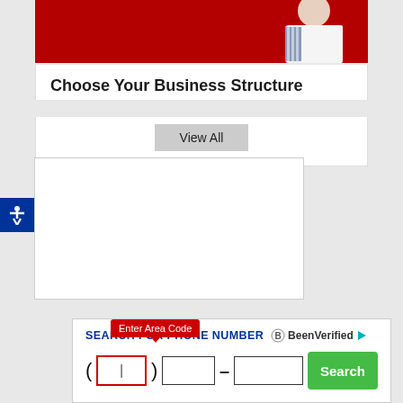[Figure (photo): Red background banner with person in white shirt and striped sleeve, partial view from top]
Choose Your Business Structure
View All
[Figure (screenshot): Blank white advertisement area]
[Figure (infographic): BeenVerified phone number search widget with area code input, phone number fields, and Search button. Tooltip says 'Enter Area Code'.]